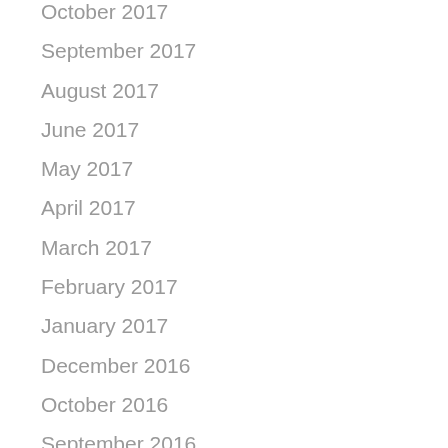October 2017
September 2017
August 2017
June 2017
May 2017
April 2017
March 2017
February 2017
January 2017
December 2016
October 2016
September 2016
August 2016
June 2016
May 2016
April 2016
March 2016